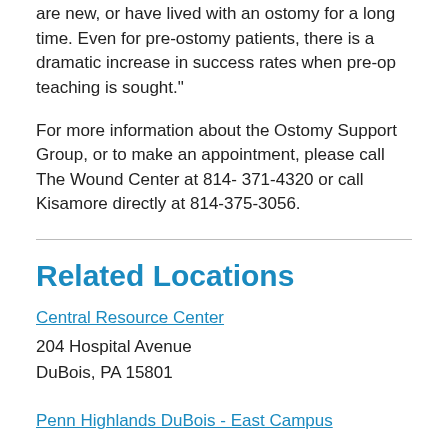are new, or have lived with an ostomy for a long time. Even for pre-ostomy patients, there is a dramatic increase in success rates when pre-op teaching is sought."
For more information about the Ostomy Support Group, or to make an appointment, please call The Wound Center at 814- 371-4320 or call Kisamore directly at 814-375-3056.
Related Locations
Central Resource Center
204 Hospital Avenue
DuBois, PA 15801
Penn Highlands DuBois - East Campus